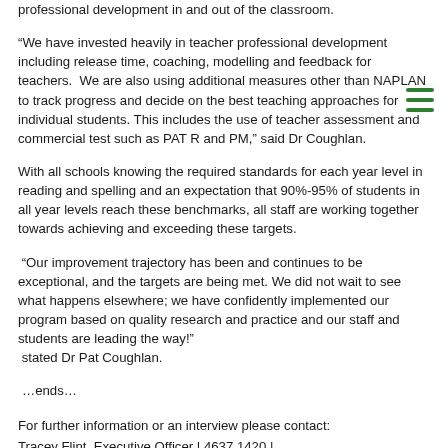professional development in and out of the classroom.
“We have invested heavily in teacher professional development including release time, coaching, modelling and feedback for teachers.  We are also using additional measures other than NAPLAN to track progress and decide on the best teaching approaches for individual students. This includes the use of teacher assessment and commercial test such as PAT R and PM,” said Dr Coughlan.
With all schools knowing the required standards for each year level in reading and spelling and an expectation that 90%-95% of students in all year levels reach these benchmarks, all staff are working together towards achieving and exceeding these targets.
“Our improvement trajectory has been and continues to be exceptional, and the targets are being met. We did not wait to see what happens elsewhere; we have confidently implemented our program based on quality research and practice and our staff and students are leading the way!”  stated Dr Pat Coughlan.
…ends…
For further information or an interview please contact:
Tracey Flint, Executive Officer | 4637 1420 |
tracey.flint@twb.catholic.edu.au